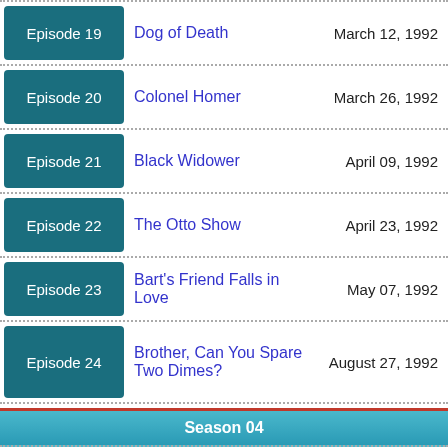| Episode | Title | Air Date |
| --- | --- | --- |
| Episode 19 | Dog of Death | March 12, 1992 |
| Episode 20 | Colonel Homer | March 26, 1992 |
| Episode 21 | Black Widower | April 09, 1992 |
| Episode 22 | The Otto Show | April 23, 1992 |
| Episode 23 | Bart's Friend Falls in Love | May 07, 1992 |
| Episode 24 | Brother, Can You Spare Two Dimes? | August 27, 1992 |
| Season 04 |  |  |
| Episode 1 | Kamp Krusty | September 24, |